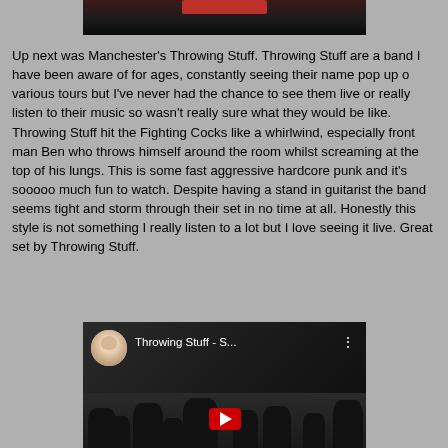[Figure (photo): Top portion of a dark video/photo thumbnail showing a stage or performance scene with a reddish highlight at the top, cropped at the top of the page.]
Up next was Manchester's Throwing Stuff. Throwing Stuff are a band I have been aware of for ages, constantly seeing their name pop up o various tours but I've never had the chance to see them live or really listen to their music so wasn't really sure what they would be like. Throwing Stuff hit the Fighting Cocks like a whirlwind, especially front man Ben who throws himself around the room whilst screaming at the top of his lungs. This is some fast aggressive hardcore punk and it's sooooo much fun to watch. Despite having a stand in guitarist the band seems tight and storm through their set in no time at all. Honestly this style is not something I really listen to a lot but I love seeing it live. Great set by Throwing Stuff.
[Figure (screenshot): YouTube video thumbnail showing a crowd scene at a concert with the title 'Throwing Stuff - S...' and a circular avatar photo of a person with glasses on the left, a YouTube play button at the bottom center, and three dots menu icon at top right.]